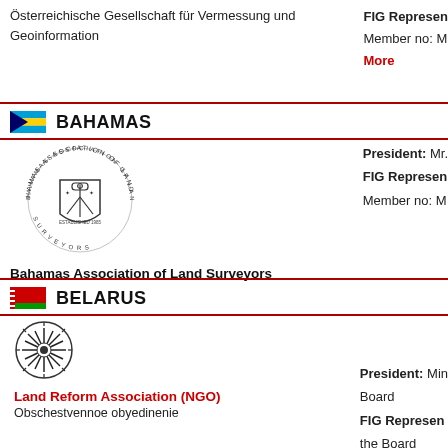Österreichische Gesellschaft für Vermessung und Geoinformation
FIG Represen
Member no: M
More
BAHAMAS
[Figure (logo): Bahamas Association of Land Surveyors circular logo with surveying equipment]
Bahamas Association of Land Surveyors
President: Mr.
FIG Represen
Member no: M
BELARUS
[Figure (logo): Land Reform Association circular logo with starburst/snowflake design]
Land Reform Association (NGO)
Obschestvennoe obyedinenie
President: Min
Board
FIG Represen
the Board